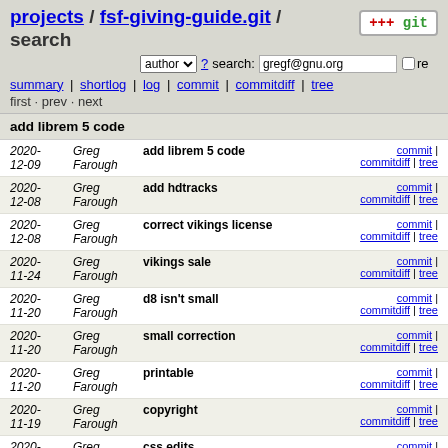projects / fsf-giving-guide.git / search
author ? search: gregf@gnu.org re
summary | shortlog | log | commit | commitdiff | tree
first · prev · next
add librem 5 code
| Date | Author | Message | Links |
| --- | --- | --- | --- |
| 2020-12-09 | Greg Farough | add librem 5 code | commit | commitdiff | tree |
| 2020-12-08 | Greg Farough | add hdtracks | commit | commitdiff | tree |
| 2020-12-08 | Greg Farough | correct vikings license | commit | commitdiff | tree |
| 2020-11-24 | Greg Farough | vikings sale | commit | commitdiff | tree |
| 2020-11-20 | Greg Farough | d8 isn't small | commit | commitdiff | tree |
| 2020-11-20 | Greg Farough | small correction | commit | commitdiff | tree |
| 2020-11-20 | Greg Farough | printable | commit | commitdiff | tree |
| 2020-11-19 | Greg Farough | copyright | commit | commitdiff | tree |
| 2020-11-... | Greg Farough | css edits | commit | commitdiff | tree |